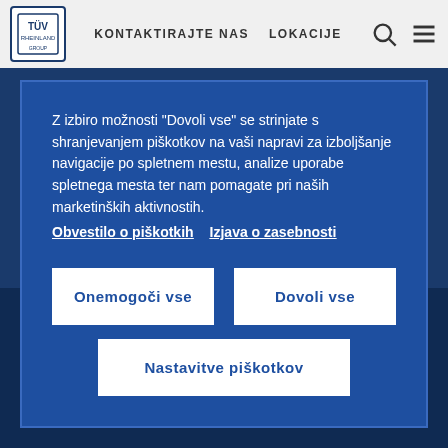KONTAKTIRAJTE NAS  LOKACIJE
Z izbiro možnosti "Dovoli vse" se strinjate s shranjevanjem piškotkov na vaši napravi za izboljšanje navigacije po spletnem mestu, analize uporabe spletnega mesta ter nam pomagate pri naših marketinških aktivnostih.
Obvestilo o piškotkih   Izjava o zasebnosti
Onemogoči vse
Dovoli vse
Nastavitve piškotkov
NASLEDNJI KORAKI
KONTAKTIRAJTE NAS